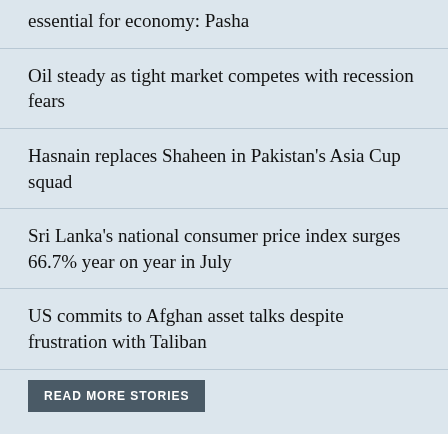essential for economy: Pasha
Oil steady as tight market competes with recession fears
Hasnain replaces Shaheen in Pakistan's Asia Cup squad
Sri Lanka's national consumer price index surges 66.7% year on year in July
US commits to Afghan asset talks despite frustration with Taliban
READ MORE STORIES
MARKETS
Egypt's deal for Indian wheat stands, but not shipped yet: